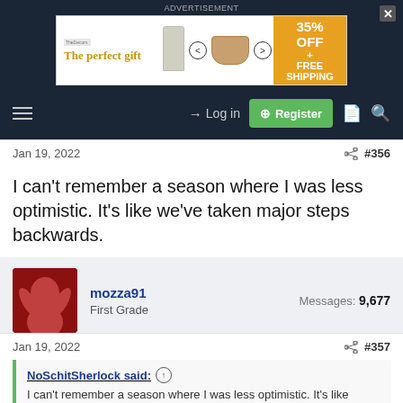[Figure (screenshot): Advertisement banner: 'The perfect gift' with food/gift imagery and '35% OFF + FREE SHIPPING' offer]
Log in | Register
Jan 19, 2022  #356
I can't remember a season where I was less optimistic. It's like we've taken major steps backwards.
mozza91
First Grade
Messages: 9,677
Jan 19, 2022  #357
NoSchitSherlock said: I can't remember a season where I was less optimistic. It's like we've taken major steps backwards.